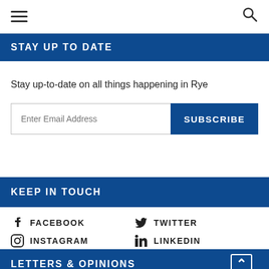≡  🔍
STAY UP TO DATE
Stay up-to-date on all things happening in Rye
Enter Email Address  SUBSCRIBE
KEEP IN TOUCH
FACEBOOK
TWITTER
INSTAGRAM
LINKEDIN
LETTERS & OPINIONS